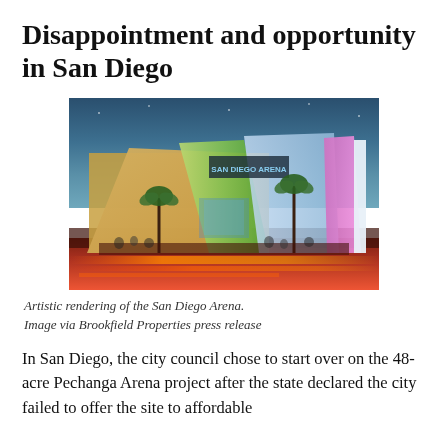Disappointment and opportunity in San Diego
[Figure (illustration): Artistic rendering of the San Diego Arena — a modern arena complex with colorful façades, illuminated at dusk, showing palm trees, a crowd on the plaza, and light trails from traffic in the foreground.]
Artistic rendering of the San Diego Arena. Image via Brookfield Properties press release
In San Diego, the city council chose to start over on the 48-acre Pechanga Arena project after the state declared the city failed to offer the site to affordable